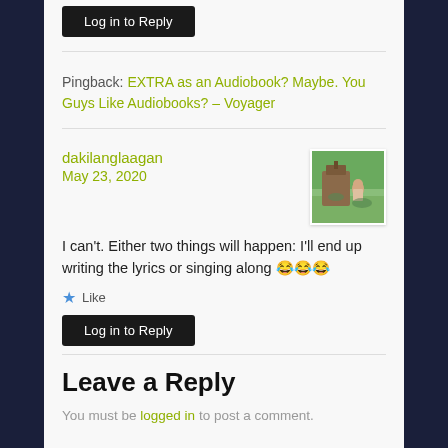Log in to Reply (button)
Pingback: EXTRA as an Audiobook? Maybe. You Guys Like Audiobooks? – Voyager
dakilanglaagan
May 23, 2020
I can't. Either two things will happen: I'll end up writing the lyrics or singing along 😂😂😂
★ Like
Log in to Reply (button)
Leave a Reply
You must be logged in to post a comment.